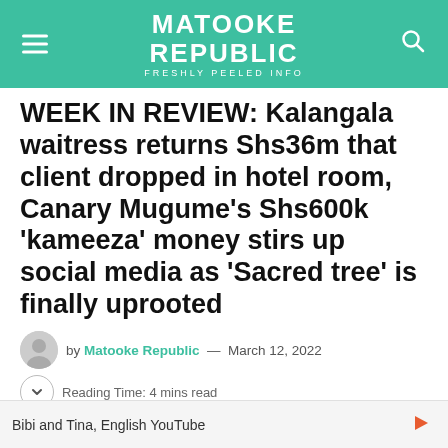MATOOKE REPUBLIC — FRESHLY PEELED INFO
WEEK IN REVIEW: Kalangala waitress returns Shs36m that client dropped in hotel room, Canary Mugume's Shs600k 'kameeza' money stirs up social media as 'Sacred tree' is finally uprooted
by Matooke Republic — March 12, 2022
Reading Time: 4 mins read
Bibi and Tina, English YouTube